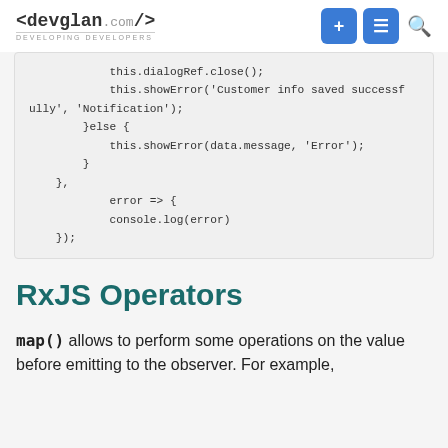<devglan.com/> DEVELOPING DEVELOPERS
[Figure (screenshot): Code snippet showing this.dialogRef.close(); this.showError('Customer info saved successfully', 'Notification'); }else { this.showError(data.message, 'Error'); } }, error => { console.log(error) });]
RxJS Operators
map() allows to perform some operations on the value before emitting to the observer. For example,